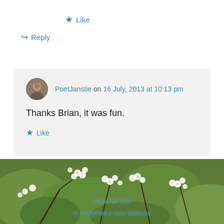★ Like
↪ Reply
PoetJanstie on 16 July, 2013 at 10:13 pm
Thanks Brian, it was fun.
★ Like
↪ Reply
[Figure (photo): Background photo of white cherry blossoms with green leaves]
View Full Site
© WordPress.com Website